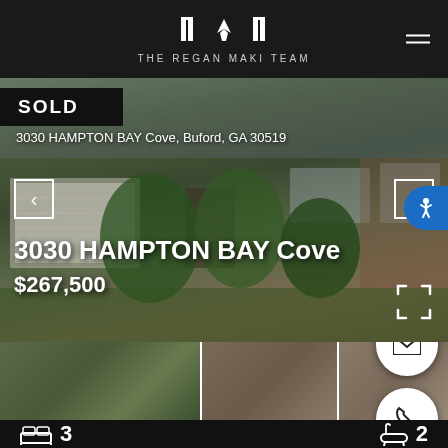THE REGAN MAKI TEAM
[Figure (photo): Exterior photo of a residential home with brick facade, green landscaping, trees and shrubs, garage visible. Overlaid with SOLD badge, address bar, navigation arrows, property title, and price.]
3030 HAMPTON BAY Cove
$267,500
3030 HAMPTON BAY Cove, Buford, GA 30519
[Figure (photo): Thumbnail strip of three house exterior photos]
3
2